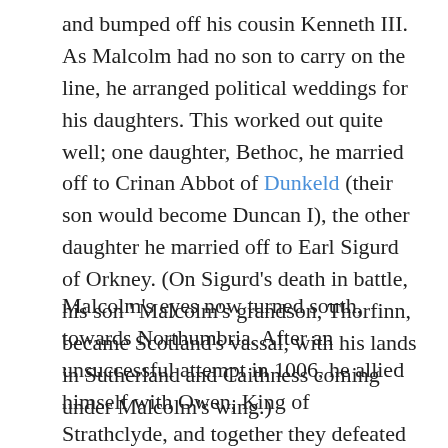and bumped off his cousin Kenneth III. As Malcolm had no son to carry on the line, he arranged political weddings for his daughters. This worked out quite well; one daughter, Bethoc, he married off to Crinan Abbot of Dunkeld (their son would become Duncan I), the other daughter he married off to Earl Sigurd of Orkney. (On Sigurd's death in battle, his son ' Malcolm's grandson, Thorfinn, became Scotland's vassal, with his lands in Sutherland and Caithness coming under Malcolm's wing.)
Malcolm's eyes now turned south, towards Northumbria. After an unsuccessful attempt in 1006, he allied himself with Owen, King of Strathclyde, and together they defeated the English King Canute at Carham (c.1016). His territories now extended as far south as the Tweed.